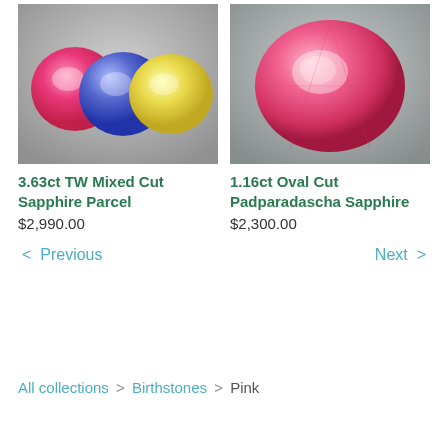[Figure (photo): Three gemstones side by side: pink, blue, and yellow sapphires on gray background]
3.63ct TW Mixed Cut Sapphire Parcel
$2,990.00
[Figure (photo): Single large oval pink padparadscha sapphire on gray background]
1.16ct Oval Cut Padparadascha Sapphire
$2,300.00
< Previous   Next >
All collections > Birthstones > Pink